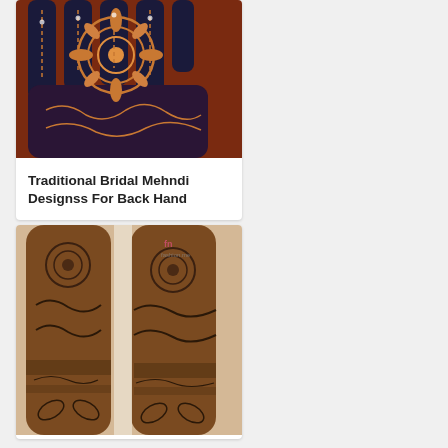[Figure (photo): Close-up photo of a hand with dark navy blue nail polish and intricate traditional bridal mehndi (henna) designs covering the back of the hand and fingers. The henna shows detailed floral and mandala patterns in dark reddish-brown tones against a reddish background.]
Traditional Bridal Mehndi Designss For Back Hand
[Figure (photo): Photo of two legs/arms covered in dense traditional mehndi (henna) designs with intricate floral, paisley and geometric patterns in dark brown. A small logo/watermark is visible in the upper right area of the image. The background is light/white fabric.]